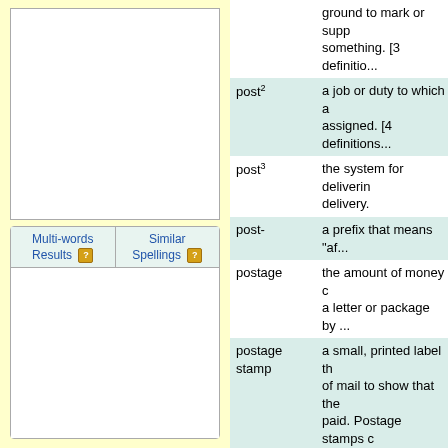[Figure (other): Left sidebar panel with yellow background, containing a white image box and tabs labeled Multi-words Results and Similar Spellings]
post2 — a job or duty to which a person is assigned. [4 definitions]
post3 — the system for delivering mail; delivery.
post- — a prefix that means "af..."
postage — the amount of money charged to send a letter or package by mail.
postage stamp — a small, printed label that is put on pieces of mail to show that the postage has been paid. Postage stamps often have pictures on them.
postal — having to do with the m...
postbox — a British word for a public box in which people place letters to be mailed. Postbox has the same meaning as mailbox.
postcard — a small card that can b...